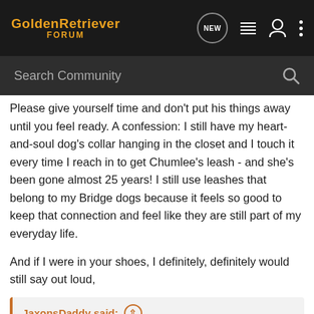GoldenRetriever FORUM
Search Community
Please give yourself time and don't put his things away until you feel ready. A confession: I still have my heart-and-soul dog's collar hanging in the closet and I touch it every time I reach in to get Chumlee's leash - and she's been gone almost 25 years! I still use leashes that belong to my Bridge dogs because it feels so good to keep that connection and feel like they are still part of my everyday life.
And if I were in your shoes, I definitely, definitely would still say out loud,
JaxonsDaddy said: ↑
“have a good day boy. I love you”.
Every. Single. Day.
Nothing wrong with that. Wishing you peace.